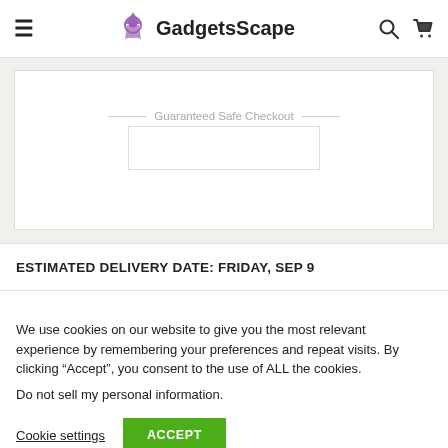GadgetsScape
Guaranteed Safe Checkout
ESTIMATED DELIVERY DATE: FRIDAY, SEP 9
We use cookies on our website to give you the most relevant experience by remembering your preferences and repeat visits. By clicking “Accept”, you consent to the use of ALL the cookies.
Do not sell my personal information.
Cookie settings
ACCEPT